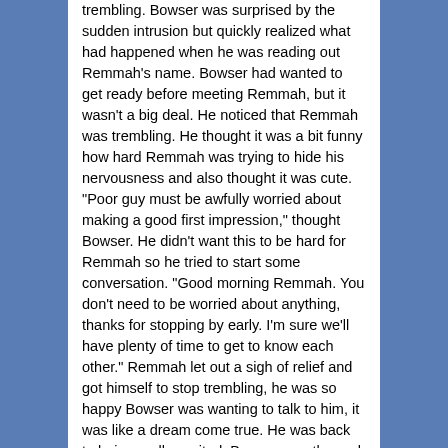trembling. Bowser was surprised by the sudden intrusion but quickly realized what had happened when he was reading out Remmah's name. Bowser had wanted to get ready before meeting Remmah, but it wasn't a big deal. He noticed that Remmah was trembling. He thought it was a bit funny how hard Remmah was trying to hide his nervousness and also thought it was cute. “Poor guy must be awfully worried about making a good first impression,” thought Bowser. He didn’t want this to be hard for Remmah so he tried to start some conversation. “Good morning Remmah. You don’t need to be worried about anything, thanks for stopping by early. I’m sure we’ll have plenty of time to get to know each other.” Remmah let out a sigh of relief and got himself to stop trembling, he was so happy Bowser was wanting to talk to him, it was like a dream come true. He was back to being really excited. Bowser saw the perk of happiness in Remmah and smiled.
“Good morning Bow—” Remmah stopped himself. He was in shock, Bowser’s male reproductive organ was simply hanging out from the middle of his boxers. Remmah had become nervous again, he didn’t know what to